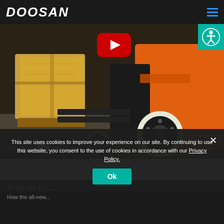DOOSAN
[Figure (screenshot): Doosan forklift (orange and black) carrying yellow cargo boxes in a warehouse; YouTube video thumbnail with red play button overlay and 'Watch on YouTube' bar at the bottom left]
This site uses cookies to improve your experience on our site. By continuing to use this website, you consent to the use of cookies in accordance with our Privacy Policy.
Ok